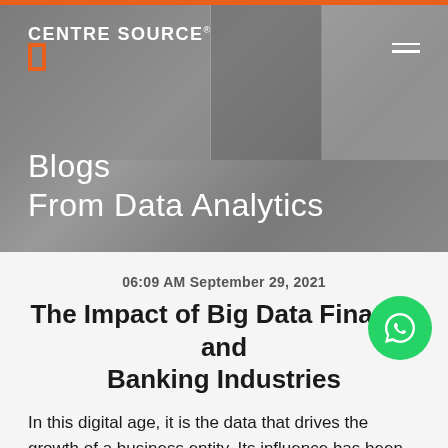[Figure (logo): Centre Source logo with orange bracket icon and white text]
Blogs
From Data Analytics
06:09 AM September 29, 2021
The Impact of Big Data Finance and Banking Industries
In this digital age, it is the data that drives the growth of a business entity. Its influence has been so deep that terms such as 'Data